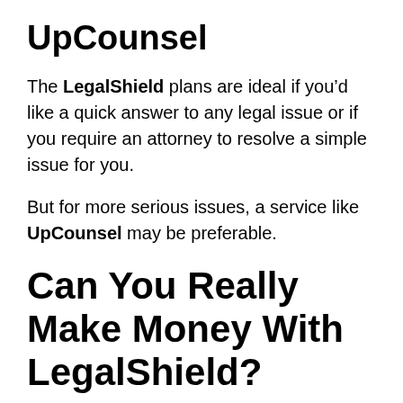UpCounsel
The LegalShield plans are ideal if you'd like a quick answer to any legal issue or if you require an attorney to resolve a simple issue for you.
But for more serious issues, a service like UpCounsel may be preferable.
Can You Really Make Money With LegalShield?